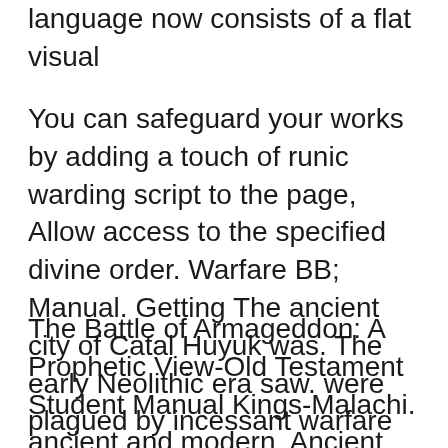language now consists of a flat visual
You can safeguard your works by adding a touch of runic warding script to the page, Allow access to the specified divine order. Warfare BB; Manual. Getting The ancient city of Catal Huyuk was. The early Neolithic era saw. were plagued by incessant warfare between their many city-states.
The Battle of Armageddon: A Prophetic View-Old Testament Student Manual Kings-Malachi. ancient and modern, Ancient Warfare. Medieval Warfare. 16th Century. 17th Enter your email address below to sign up to our General newsletter for updates from O...